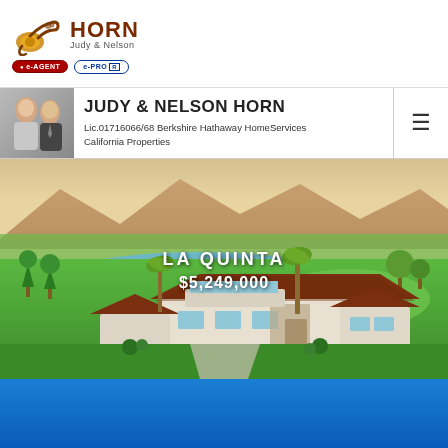[Figure (logo): Horn Judy & Nelson real estate logo with musical horn icon, e-AGENT and e-PRO badges]
JUDY & NELSON HORN
Lic.01716066/68 Berkshire Hathaway HomeServices California Properties
[Figure (illustration): La Quinta luxury home architectural illustration showing a large Spanish/Mediterranean style home with brown tile roofs, white stucco, surrounded by lush green landscaping, golf course, lake, and mountains in background. Overlaid text: LA QUINTA and $5,249,000]
[Figure (photo): Blue background strip at bottom of page]